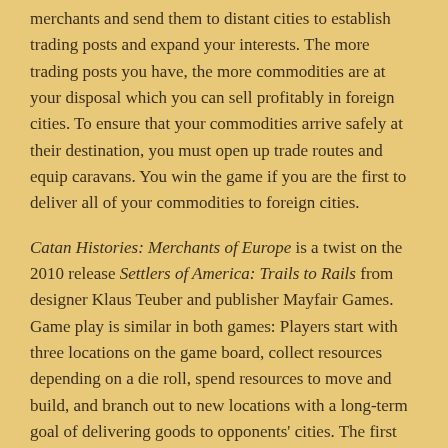merchants and send them to distant cities to establish trading posts and expand your interests. The more trading posts you have, the more commodities are at your disposal which you can sell profitably in foreign cities. To ensure that your commodities arrive safely at their destination, you must open up trade routes and equip caravans. You win the game if you are the first to deliver all of your commodities to foreign cities.
Catan Histories: Merchants of Europe is a twist on the 2010 release Settlers of America: Trails to Rails from designer Klaus Teuber and publisher Mayfair Games. Game play is similar in both games: Players start with three locations on the game board, collect resources depending on a die roll, spend resources to move and build, and branch out to new locations with a long-term goal of delivering goods to opponents' cities. The first player to deliver all of his goods wins the game.
Instead of being played on a fixed game board showing a Catan-ified map of the United States, Die Siedler von Catan: Aufbruch der Händler is set on a Catan-ified map of Europe – which isn't a surprise given that Kosmos is a European publisher, and the focus of a Catan scenario is always tied to its publisher's home country.